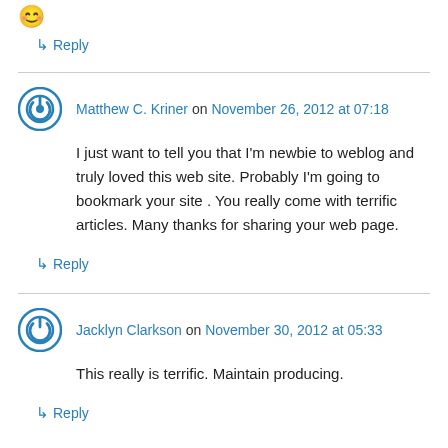[Figure (illustration): Smiley face emoji at top of page]
↳ Reply
Matthew C. Kriner on November 26, 2012 at 07:18
I just want to tell you that I'm newbie to weblog and truly loved this web site. Probably I'm going to bookmark your site . You really come with terrific articles. Many thanks for sharing your web page.
↳ Reply
Jacklyn Clarkson on November 30, 2012 at 05:33
This really is terrific. Maintain producing.
↳ Reply